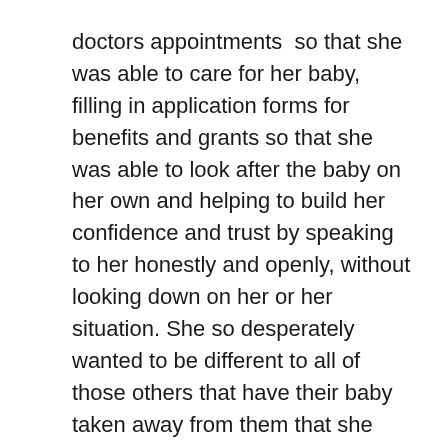doctors appointments  so that she was able to care for her baby, filling in application forms for benefits and grants so that she was able to look after the baby on her own and helping to build her confidence and trust by speaking to her honestly and openly, without looking down on her or her situation. She so desperately wanted to be different to all of those others that have their baby taken away from them that she was prepared to do anything she could to help herself.

These “silly little things” add up, she realised that I was there for her all the way, that I wasn’t going to take a half hearted ‘OK’ for an answer and that together, we would follow through with the things that we said we would. I gained her